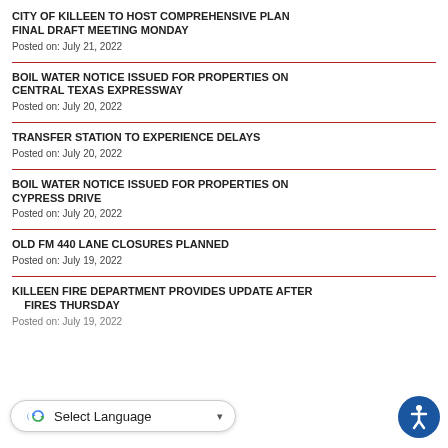CITY OF KILLEEN TO HOST COMPREHENSIVE PLAN FINAL DRAFT MEETING MONDAY
Posted on: July 21, 2022
BOIL WATER NOTICE ISSUED FOR PROPERTIES ON CENTRAL TEXAS EXPRESSWAY
Posted on: July 20, 2022
TRANSFER STATION TO EXPERIENCE DELAYS
Posted on: July 20, 2022
BOIL WATER NOTICE ISSUED FOR PROPERTIES ON CYPRESS DRIVE
Posted on: July 20, 2022
OLD FM 440 LANE CLOSURES PLANNED
Posted on: July 19, 2022
KILLEEN FIRE DEPARTMENT PROVIDES UPDATE AFTER BRUSHFIRES THURSDAY
Posted on: July 19, 2022